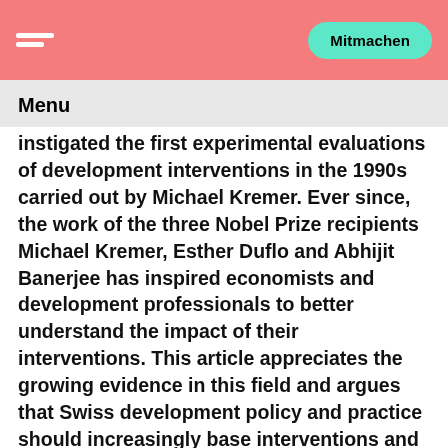Mitmachen
Menu
instigated the first experimental evaluations of development interventions in the 1990s carried out by Michael Kremer. Ever since, the work of the three Nobel Prize recipients Michael Kremer, Esther Duflo and Abhijit Banerjee has inspired economists and development professionals to better understand the impact of their interventions. This article appreciates the growing evidence in this field and argues that Swiss development policy and practice should increasingly base interventions and decision-making on evidence.